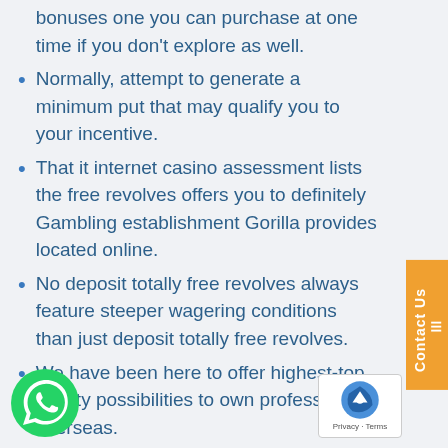bonuses one you can purchase at one time if you don't explore as well.
Normally, attempt to generate a minimum put that may qualify you to your incentive.
That it internet casino assessment lists the free revolves offers you to definitely Gambling establishment Gorilla provides located online.
No deposit totally free revolves always feature steeper wagering conditions than just deposit totally free revolves.
We have been here to offer highest-top quality possibilities to own professionals overseas.
This type of no-deposit totally free revolves is ctually good on the games for example Flu Favourites and the the brand new